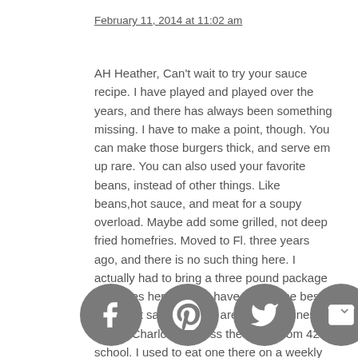February 11, 2014 at 11:02 am
AH Heather, Can't wait to try your sauce recipe. I have played and played over the years, and there has always been something missing. I have to make a point, though. You can make those burgers thick, and serve em up rare. You can also used your favorite beans, instead of other things. Like beans,hot sauce, and meat for a soupy overload. Maybe add some grilled, not deep fried homefries. Moved to Fl. three years ago, and there is no such thing here. I actually had to bring a three pound package of Whites here, just to have them. The best best best sauce, if they are still in business, was in Charlotte, across the street from 42 school. I used to eat one there on a weekly basis. I don't know what they did, but it was awesome. Called Charlotte hots, I think. Anyhow, I'll keep you posted, as I just bought a beach concession, and to serve sauce. Lot of those NY'ers here.